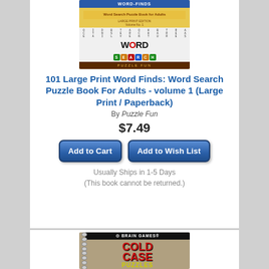[Figure (photo): Book cover of '101 Large Print Word Finds: Word Search Puzzle Book for Adults - Volume 1' by Puzzle Fun, with orange/yellow background and word search grid imagery]
101 Large Print Word Finds: Word Search Puzzle Book For Adults - volume 1 (Large Print / Paperback)
By Puzzle Fun
$7.49
Add to Cart
Add to Wish List
Usually Ships in 1-5 Days
(This book cannot be returned.)
[Figure (photo): Book cover of 'Brain Games Cold Case Puzzles' - spiral-bound book with red title text on a dark background with crime scene imagery]